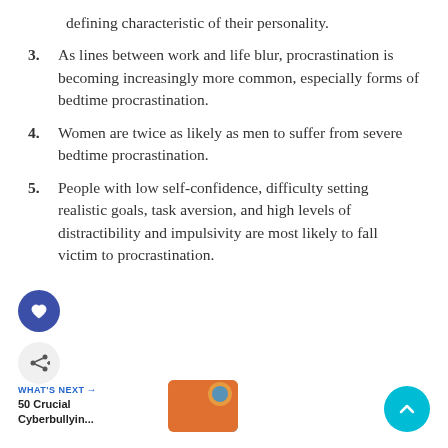defining characteristic of their personality.
3. As lines between work and life blur, procrastination is becoming increasingly more common, especially forms of bedtime procrastination.
4. Women are twice as likely as men to suffer from severe bedtime procrastination.
5. People with low self-confidence, difficulty setting realistic goals, task aversion, and high levels of distractibility and impulsivity are most likely to fall victim to procrastination.
WHAT'S NEXT → 50 Crucial Cyberbullyin...